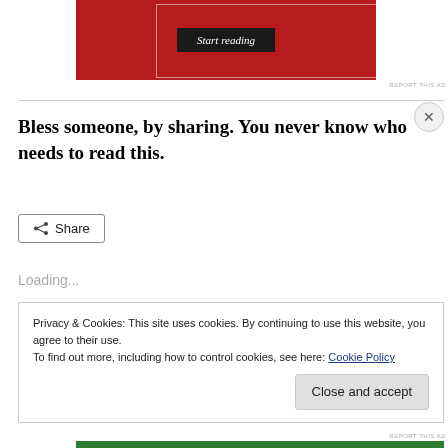[Figure (screenshot): Red book cover image with 'Start reading' button in black on red background]
REPORT THIS AD
Bless someone, by sharing. You never know who needs to read this.
Share
Loading...
Privacy & Cookies: This site uses cookies. By continuing to use this website, you agree to their use.
To find out more, including how to control cookies, see here: Cookie Policy
Close and accept